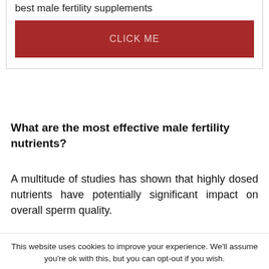best male fertility supplements
[Figure (other): Red button with text CLICK ME]
What are the most effective male fertility nutrients?
A multitude of studies has shown that highly dosed nutrients have potentially significant impact on overall sperm quality.
This website uses cookies to improve your experience. We'll assume you're ok with this, but you can opt-out if you wish. Cookie settings  ACCEPT